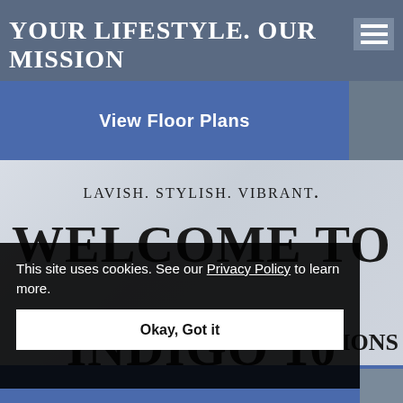YOUR LIFESTYLE. OUR MISSION
View Floor Plans
LAVISH. STYLISH. VIBRANT.
WELCOME TO INDIGO 10
This site uses cookies. See our Privacy Policy to learn more.
Okay, Got it
TIONS